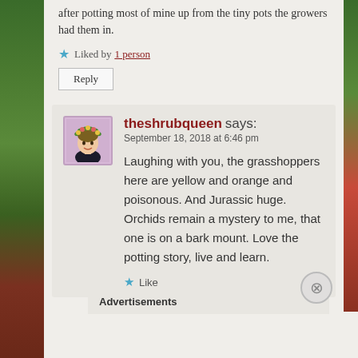after potting most of mine up from the tiny pots the growers had them in.
Liked by 1 person
Reply
theshrubqueen says: September 18, 2018 at 6:46 pm
Laughing with you, the grasshoppers here are yellow and orange and poisonous. And Jurassic huge. Orchids remain a mystery to me, that one is on a bark mount. Love the potting story, live and learn.
Like
Advertisements